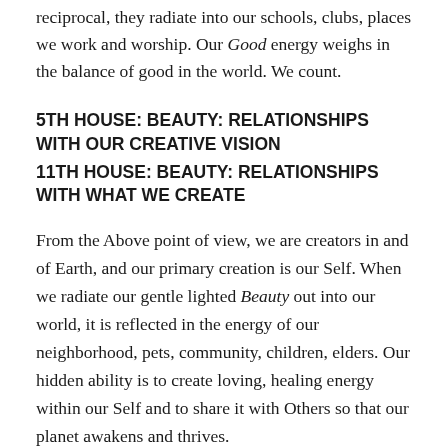reciprocal, they radiate into our schools, clubs, places we work and worship. Our Good energy weighs in the balance of good in the world. We count.
5TH HOUSE: BEAUTY: RELATIONSHIPS WITH OUR CREATIVE VISION
11TH HOUSE: BEAUTY: RELATIONSHIPS WITH WHAT WE CREATE
From the Above point of view, we are creators in and of Earth, and our primary creation is our Self. When we radiate our gentle lighted Beauty out into our world, it is reflected in the energy of our neighborhood, pets, community, children, elders. Our hidden ability is to create loving, healing energy within our Self and to share it with Others so that our planet awakens and thrives.
6TH HOUSE: TRUE: RELATIONSHIPS WITH